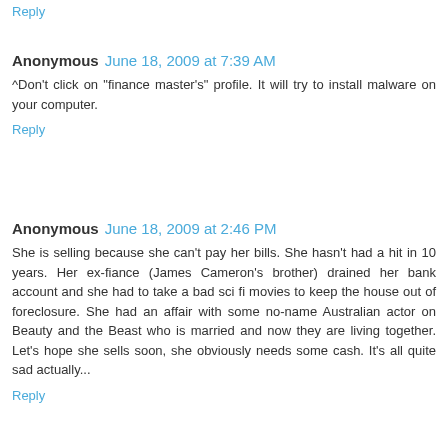Reply
Anonymous  June 18, 2009 at 7:39 AM
^Don't click on "finance master's" profile. It will try to install malware on your computer.
Reply
Anonymous  June 18, 2009 at 2:46 PM
She is selling because she can't pay her bills. She hasn't had a hit in 10 years. Her ex-fiance (James Cameron's brother) drained her bank account and she had to take a bad sci fi movies to keep the house out of foreclosure. She had an affair with some no-name Australian actor on Beauty and the Beast who is married and now they are living together. Let's hope she sells soon, she obviously needs some cash. It's all quite sad actually...
Reply